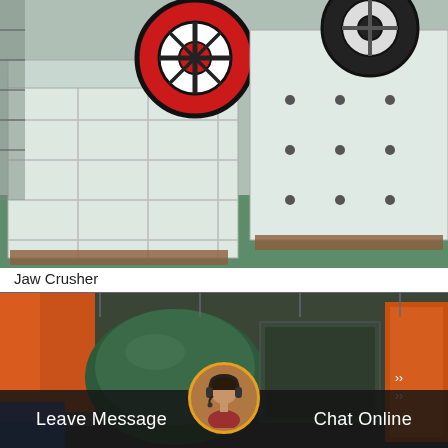[Figure (photo): Large white jaw crushers with red flywheel in an industrial factory setting with green floor]
Jaw Crusher
[Figure (photo): Dark green roller/double-roll crusher machine in an industrial warehouse with orange equipment visible]
Leave Message
Chat Online